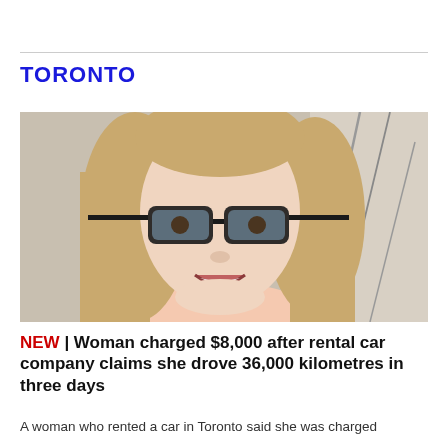TORONTO
[Figure (photo): A smiling woman with long blonde hair wearing large black-framed glasses, shown from shoulders up, in front of a beige wall with a decorative panel visible on the right side.]
NEW | Woman charged $8,000 after rental car company claims she drove 36,000 kilometres in three days
A woman who rented a car in Toronto said she was charged